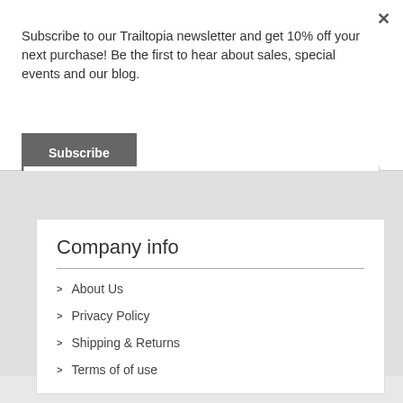Subscribe to our Trailtopia newsletter and get 10% off your next purchase! Be the first to hear about sales, special events and our blog.
Subscribe
Company info
> About Us
> Privacy Policy
> Shipping & Returns
> Terms of of use